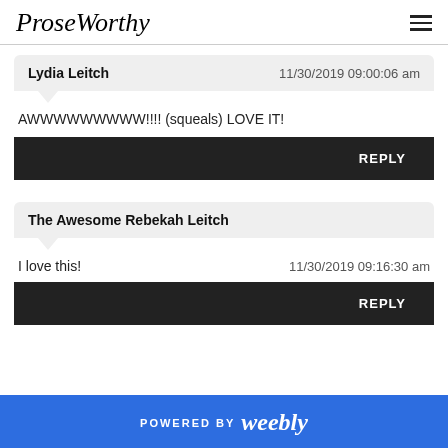ProseWorthy
Lydia Leitch   11/30/2019 09:00:06 am
AWWWWWWWWW!!!! (squeals) LOVE IT!
REPLY
The Awesome Rebekah Leitch
I love this!   11/30/2019 09:16:30 am
REPLY
POWERED BY weebly